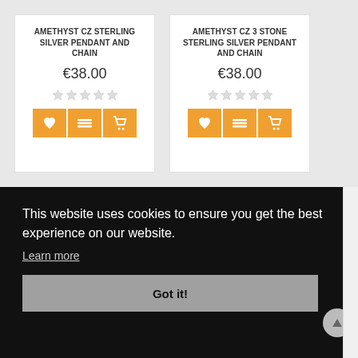AMETHYST CZ STERLING SILVER PENDANT AND CHAIN
€38.00
AMETHYST CZ 3 STONE STERLING SILVER PENDANT AND CHAIN
€38.00
This website uses cookies to ensure you get the best experience on our website.
Learn more
Got it!